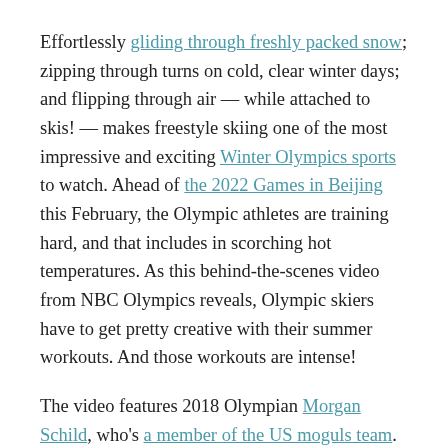Effortlessly gliding through freshly packed snow; zipping through turns on cold, clear winter days; and flipping through air — while attached to skis! — makes freestyle skiing one of the most impressive and exciting Winter Olympics sports to watch. Ahead of the 2022 Games in Beijing this February, the Olympic athletes are training hard, and that includes in scorching hot temperatures. As this behind-the-scenes video from NBC Olympics reveals, Olympic skiers have to get pretty creative with their summer workouts. And those workouts are intense!
The video features 2018 Olympian Morgan Schild, who's a member of the US moguls team. Schild recorded a montage of her various training techniques, starting with sliding down a ramp on her skis and doing flips into a swimming pool. (Yes, a